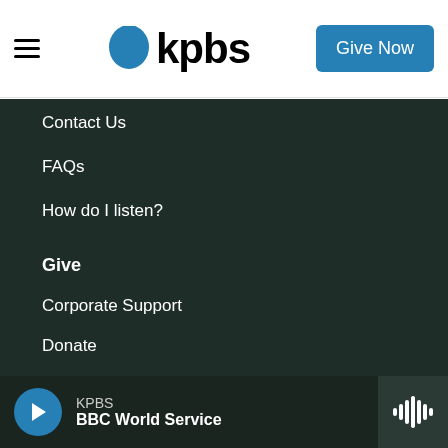KPBS logo and Give Now button
Contact Us
FAQs
How do I listen?
Give
Corporate Support
Donate
Membership Information
Other Ways to Give
Tax ID
KPBS BBC World Service